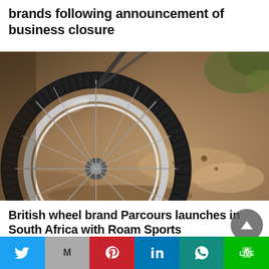brands following announcement of business closure
[Figure (photo): Close-up photo of a mountain bike wheel and tyre pressing into sandy/dusty terrain, with spokes and rim visible, blurred background of earthy ground and vegetation]
British wheel brand Parcours launches in South Africa with Roam Sports partnership